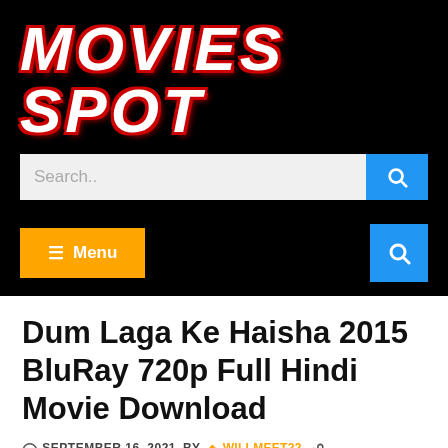[Figure (logo): Movies Spot website logo in white distressed text with red shadow on black background]
[Figure (screenshot): Search bar with text input and blue search button]
[Figure (screenshot): Orange Menu button and blue search button navigation bar]
Dum Laga Ke Haisha 2015 BluRay 720p Full Hindi Movie Download
SEPTEMBER 16, 2021  BY  WILLMEET22  WHOLE NEW MOVIES
[Figure (photo): Movie thumbnail/poster partially visible at bottom of page]